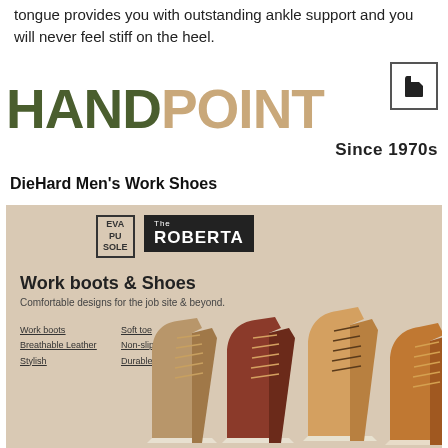tongue provides you with outstanding ankle support and you will never feel stiff on the heel.
[Figure (logo): HANDPOINT brand logo with boot icon, dark olive green HAND and tan POINT text, Since 1970s tagline]
DieHard Men’s Work Shoes
[Figure (illustration): Product advertisement for The Roberta work boots and shoes by EVA PU SOLE. Shows multiple leather work boots in brown, red, and tan colors with text: Work boots & Shoes, Comfortable designs for the job site & beyond. Features listed: Work boots, Soft toe, Breathable Leather, Non-slip, Stylish, Durable.]